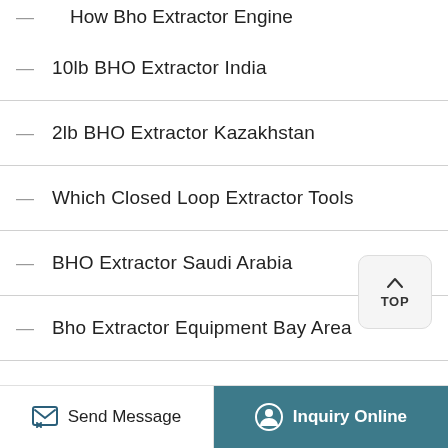How Bho Extractor Engine
10lb BHO Extractor India
2lb BHO Extractor Kazakhstan
Which Closed Loop Extractor Tools
BHO Extractor Saudi Arabia
Bho Extractor Equipment Bay Area
Which Closed Loop Extractor Gauge
How Closed Loop Extractor Tool
How Closed Loop Extractor Co2 Extractor
Send Message | Inquiry Online